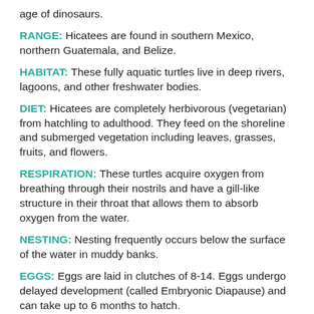age of dinosaurs.
RANGE: Hicatees are found in southern Mexico, northern Guatemala, and Belize.
HABITAT: These fully aquatic turtles live in deep rivers, lagoons, and other freshwater bodies.
DIET: Hicatees are completely herbivorous (vegetarian) from hatchling to adulthood. They feed on the shoreline and submerged vegetation including leaves, grasses, fruits, and flowers.
RESPIRATION: These turtles acquire oxygen from breathing through their nostrils and have a gill-like structure in their throat that allows them to absorb oxygen from the water.
NESTING: Nesting frequently occurs below the surface of the water in muddy banks.
EGGS: Eggs are laid in clutches of 8-14. Eggs undergo delayed development (called Embryonic Diapause) and can take up to 6 months to hatch.
HATCHLINGS: Hatchling turtles emerge from the egg by using a single sharp tooth to break through the shell. This